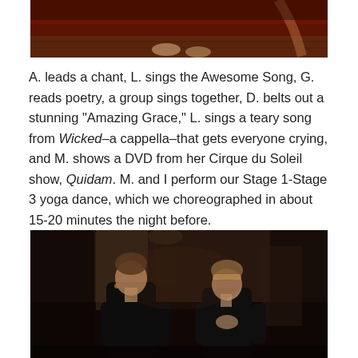[Figure (photo): Partial photo at top showing feet/legs on a wooden floor with dark red/brown background, cropped at top of page]
A. leads a chant, L. sings the Awesome Song, G. reads poetry, a group sings together, D. belts out a stunning “Amazing Grace,” L. sings a teary song from Wicked–a cappella–that gets everyone crying, and M. shows a DVD from her Cirque du Soleil show, Quidam. M. and I perform our Stage 1-Stage 3 yoga dance, which we choreographed in about 15-20 minutes the night before.
[Figure (photo): Photo of two women in black tank tops in a dimly lit room, appearing to perform a yoga dance. The woman on the left faces forward with eyes downcast, and the woman on the right has her hands together in a prayer pose. Dark background with furniture visible.]